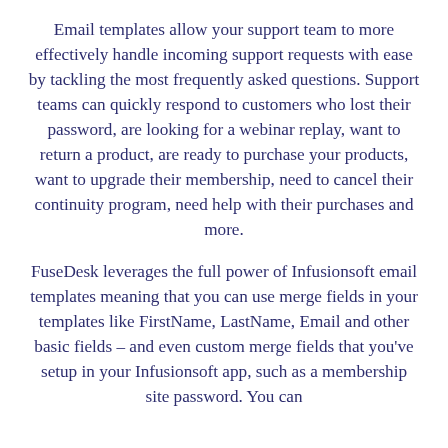Email templates allow your support team to more effectively handle incoming support requests with ease by tackling the most frequently asked questions. Support teams can quickly respond to customers who lost their password, are looking for a webinar replay, want to return a product, are ready to purchase your products, want to upgrade their membership, need to cancel their continuity program, need help with their purchases and more.
FuseDesk leverages the full power of Infusionsoft email templates meaning that you can use merge fields in your templates like FirstName, LastName, Email and other basic fields – and even custom merge fields that you've setup in your Infusionsoft app, such as a membership site password. You can